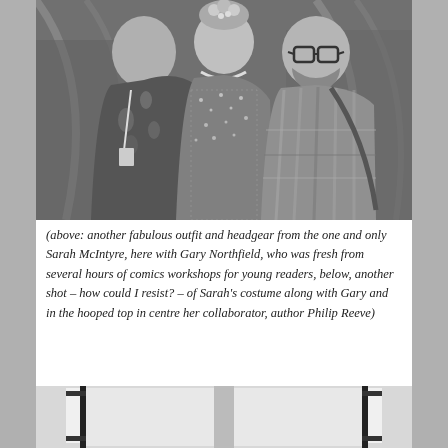[Figure (photo): Black and white photograph of three people posing together at what appears to be an event or convention. On the left is a woman wearing a floral outfit with a lanyard/badge. In the centre is a person in an elaborate sparkly/sequined costume with decorative headgear. On the right is a bearded man wearing glasses and a plaid shirt with a shoulder bag. The background shows tent or marquee structures.]
(above: another fabulous outfit and headgear from the one and only Sarah McIntyre, here with Gary Northfield, who was fresh from several hours of comics workshops for young readers, below, another shot – how could I resist? – of Sarah’s costume along with Gary and in the hooped top in centre her collaborator, author Philip Reeve)
[Figure (photo): Partial black and white photograph showing what appears to be a white backdrop or screen setup with black frame poles/stands, likely a photo booth or display area.]